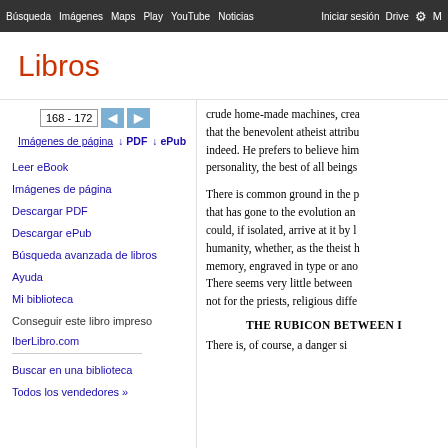Búsqueda  Imágenes  Maps  Play  YouTube  Noticias  Iniciar sesión  Drive  ⚙  M
Libros
168 - 172
Imágenes de página   ↓ PDF   ↓ ePub
Leer eBook
Imágenes de página
Descargar PDF
Descargar ePub
Búsqueda avanzada de libros
Ayuda
Mi biblioteca
Conseguir este libro impreso
IberLibro.com
Buscar en una biblioteca
Todos los vendedores »
crude home-made machines, crea that the benevolent atheist attribu indeed. He prefers to believe him personality, the best of all beings
There is common ground in the p that has gone to the evolution an could, if isolated, arrive at it by l humanity, whether, as the theist h memory, engraved in type or ano There seems very little between not for the priests, religious diffe
THE RUBICON BETWEEN I
There is, of course, a danger si